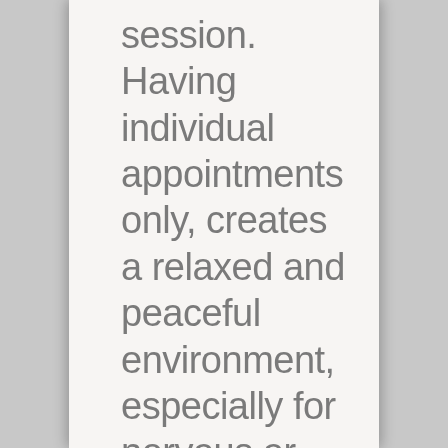session. Having individual appointments only, creates a relaxed and peaceful environment, especially for nervous or elderly pets, where their treatment can be tailored to